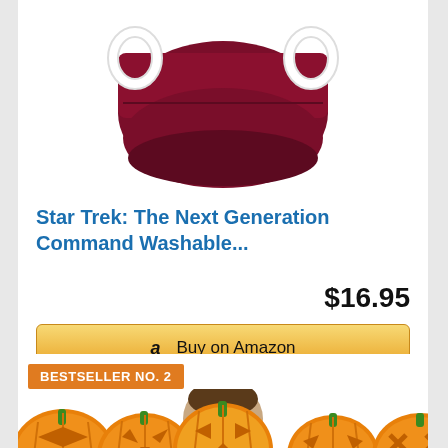[Figure (photo): Dark red/maroon Star Trek face mask with white ear loops, shown from above on white background]
Star Trek: The Next Generation Command Washable...
$16.95
[Figure (screenshot): Amazon 'Buy on Amazon' button with Amazon logo 'a' on golden gradient background]
BESTSELLER NO. 2
[Figure (photo): Row of five carved Halloween jack-o-lantern pumpkins with glowing faces, with a person's head visible behind them]